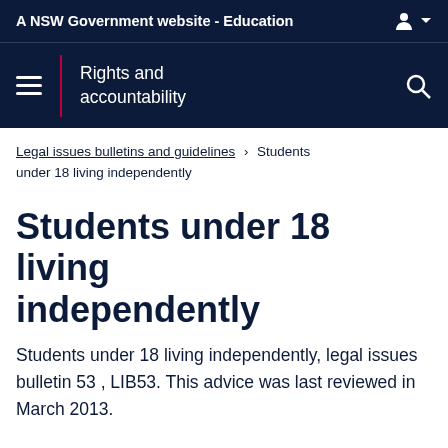A NSW Government website - Education
Rights and accountability
Legal issues bulletins and guidelines > Students under 18 living independently
Students under 18 living independently
Students under 18 living independently, legal issues bulletin 53 , LIB53. This advice was last reviewed in March 2013.